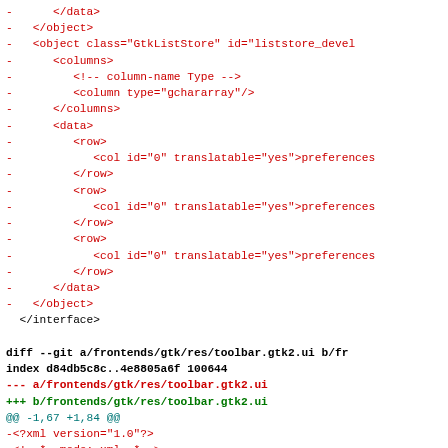Code diff showing removal of XML object/data elements and a git diff header for frontends/gtk/res/toolbar.gtk2.ui
-      </data>
-   </object>
-   <object class="GtkListStore" id="liststore_devel
-      <columns>
-         <!-- column-name Type -->
-         <column type="gchararray"/>
-      </columns>
-      <data>
-         <row>
-            <col id="0" translatable="yes">preferences
-         </row>
-         <row>
-            <col id="0" translatable="yes">preferences
-         </row>
-         <row>
-            <col id="0" translatable="yes">preferences
-         </row>
-      </data>
-   </object>
  </interface>
diff --git a/frontends/gtk/res/toolbar.gtk2.ui b/fr
index d84db5c8c..4e8805a6f 100644
--- a/frontends/gtk/res/toolbar.gtk2.ui
+++ b/frontends/gtk/res/toolbar.gtk2.ui
@@ -1,67 +1,84 @@
-<?xml version="1.0"?>
-<!--*- mode: xml -*-->
+<?xml version="1.0" encoding="UTF-8"?>
 <interface>